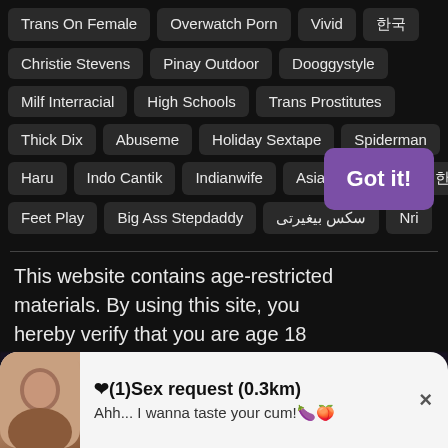Trans On Female
Overwatch Porn
Vivid
한국
Christie Stevens
Pinay Outdoor
Dooggystyle
Milf Interracial
High Schools
Trans Prostitutes
Thick Dix
Abuseme
Holiday Sextape
Spiderman
Haru
Indo Cantik
Indianwife
Asian Cuck
한국한
Feet Play
Big Ass Stepdaddy
سکس بیغیرتی
Nri
This website contains age-restricted materials. By using this site, you hereby verify that you are age 18 and older and agree to comply with all the Privacy Policy. We use cookies to provide you the best possible experience on our
Got it!
❤(1)Sex request (0.3km)
Ahh... I wanna taste your cum!🍆🍑